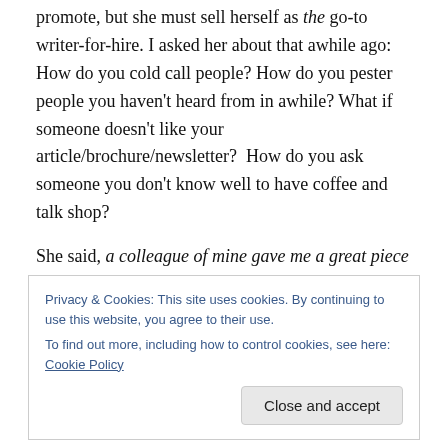promote, but she must sell herself as the go-to writer-for-hire. I asked her about that awhile ago: How do you cold call people? How do you pester people you haven't heard from in awhile? What if someone doesn't like your article/brochure/newsletter?  How do you ask someone you don't know well to have coffee and talk shop?
She said, a colleague of mine gave me a great piece advice about networking and marketing. You have to do something every single day that makes you want to throw up.
Privacy & Cookies: This site uses cookies. By continuing to use this website, you agree to their use.
To find out more, including how to control cookies, see here: Cookie Policy